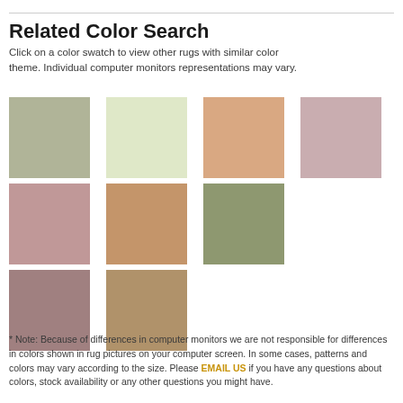Related Color Search
Click on a color swatch to view other rugs with similar color theme. Individual computer monitors representations may vary.
[Figure (other): Grid of 10 color swatches: sage green, light cream, peach/tan, dusty rose (row 1); mauve/pink, tan/camel, olive green, white (row 2); dusty mauve/brown-purple, medium tan/brown (row 3)]
* Note: Because of differences in computer monitors we are not responsible for differences in colors shown in rug pictures on your computer screen. In some cases, patterns and colors may vary according to the size. Please EMAIL US if you have any questions about colors, stock availability or any other questions you might have.